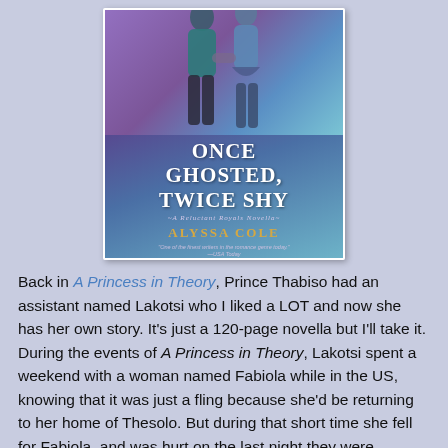[Figure (illustration): Book cover of 'Once Ghosted, Twice Shy' by Alyssa Cole — A Reluctant Royals Novella. The cover shows two people walking together, one in a teal jacket and one in a blue outfit. The title is displayed in large white serif text, the subtitle in small decorative text, and the author name in gold capital letters.]
Back in A Princess in Theory, Prince Thabiso had an assistant named Lakotsi who I liked a LOT and now she has her own story. It's just a 120-page novella but I'll take it. During the events of A Princess in Theory, Lakotsi spent a weekend with a woman named Fabiola while in the US, knowing that it was just a fling because she'd be returning to her home of Thesolo. But during that short time she fell for Fabiola, and was hurt on the last night they were supposed to get together when Fab sent her a text just cutting her off. Now, back in New York again, she runs into Fab by chance on the train.